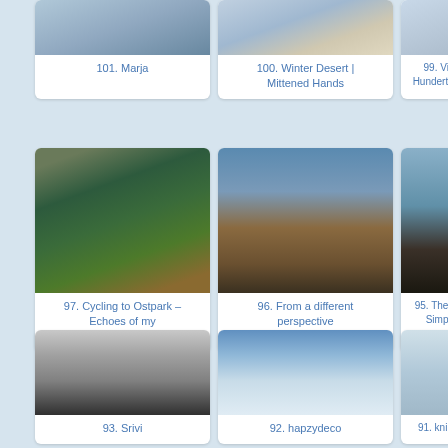[Figure (photo): Photo card: 101. Marja - top portion of image visible]
101. Marja
[Figure (photo): Photo card: 100. Winter Desert | Mittened Hands]
100. Winter Desert | Mittened Hands
[Figure (photo): Photo card: 99. Vien... Hundertwass... (partially visible)]
99. Vien... Hundertwass...
[Figure (photo): Photo card showing peacocks: 97. Cycling to Ostpark – Echoes of my Neighbourhood –]
97. Cycling to Ostpark – Echoes of my Neighbourhood –
[Figure (photo): Photo card showing cityscape: 96. From a different perspective]
96. From a different perspective
[Figure (photo): Photo card showing statue: 95. The Bea... Simplic...]
95. The Bea... Simplic...
[Figure (photo): Photo card showing black and white tree: 93. Srivi]
93. Srivi
[Figure (photo): Photo card showing clouds and balloon: 92. hapzydeco]
92. hapzydeco
[Figure (photo): Photo card partially visible: 91. knipsbl...]
91. knipsbl...